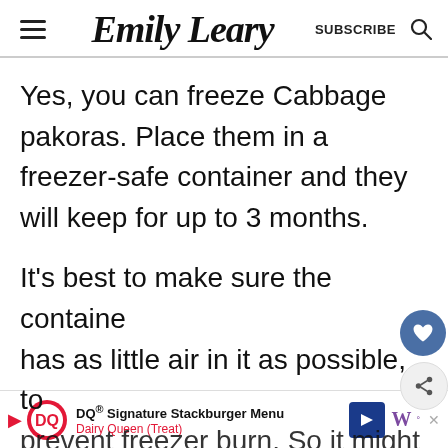Emily Leary — SUBSCRIBE
Yes, you can freeze Cabbage pakoras. Place them in a freezer-safe container and they will keep for up to 3 months.
It's best to make sure the container has as little air in it as possible, to prevent freezer burn. So it might be a
[Figure (other): DQ Signature Stackburger Menu advertisement banner — Dairy Queen (Treat) with DQ logo and navigation arrow]
DQ® Signature Stackburger Menu — Dairy Queen (Treat)